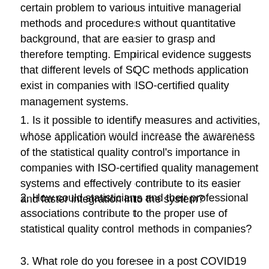certain problem to various intuitive managerial methods and procedures without quantitative background, that are easier to grasp and therefore tempting. Empirical evidence suggests that different levels of SQC methods application exist in companies with ISO-certified quality management systems.
1. Is it possible to identify measures and activities, whose application would increase the awareness of the statistical quality control's importance in companies with ISO-certified quality management systems and effectively contribute to its easier and faster integration into the system?
2. How could statisticians and their professional associations contribute to the proper use of statistical quality control methods in companies?
3. What role do you foresee in a post COVID19 world, for